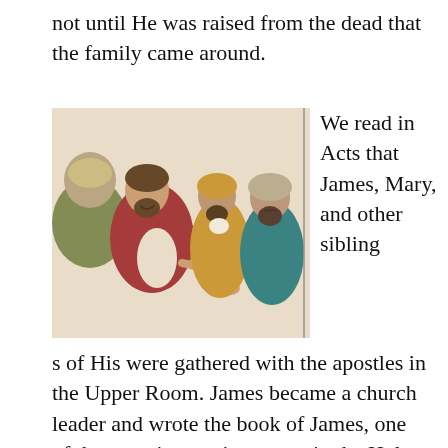not until He was raised from the dead that the family came around.
[Figure (illustration): Color illustration of Jesus speaking with several disciples/apostles, shown in robes and head coverings in Middle Eastern style. Jesus is in the center with a red robe, gesturing with his hand. Other figures surround him including men in gold and teal robes.]
We read in Acts that James, Mary, and other siblings of His were gathered with the apostles in the Upper Room. James became a church leader and wrote the book of James, one of the most instructive tomes in the Holy Bible.